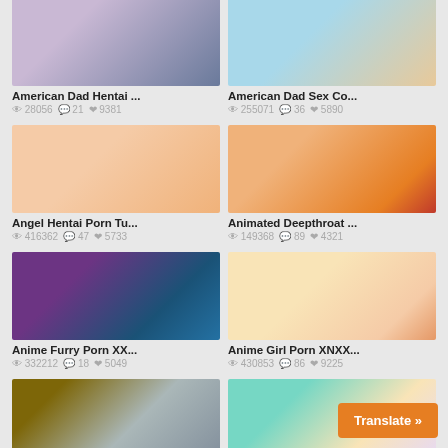[Figure (screenshot): Anime thumbnail 1 - American Dad Hentai]
American Dad Hentai ...
👁 28056  💬 21  ❤ 9381
[Figure (screenshot): Anime thumbnail 2 - American Dad Sex Co...]
American Dad Sex Co...
👁 255071  💬 36  ❤ 5890
[Figure (screenshot): Anime thumbnail 3 - Angel Hentai Porn Tu...]
Angel Hentai Porn Tu...
👁 416362  💬 47  ❤ 5733
[Figure (screenshot): Anime thumbnail 4 - Animated Deepthroat ...]
Animated Deepthroat ...
👁 149368  💬 89  ❤ 4321
[Figure (screenshot): Anime thumbnail 5 - Anime Furry Porn XX...]
Anime Furry Porn XX...
👁 332212  💬 18  ❤ 5049
[Figure (screenshot): Anime thumbnail 6 - Anime Girl Porn XNXX...]
Anime Girl Porn XNXX...
👁 430853  💬 86  ❤ 9225
[Figure (screenshot): Anime thumbnail 7 - partial view]
[Figure (screenshot): Anime thumbnail 8 - partial view]
Translate »